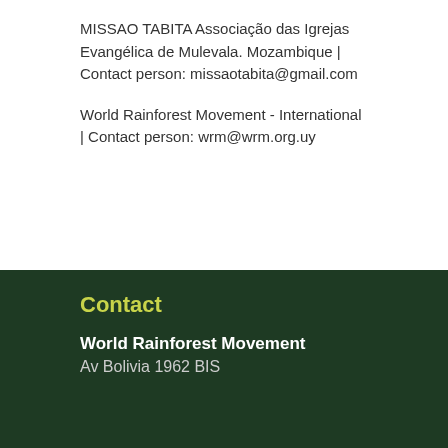MISSAO TABITA Associação das Igrejas Evangélica de Mulevala. Mozambique | Contact person: missaotabita@gmail.com
World Rainforest Movement - International | Contact person: wrm@wrm.org.uy
Contact
World Rainforest Movement
Av Bolivia 1962 BIS